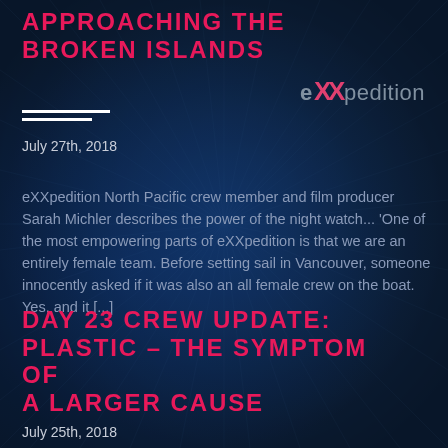APPROACHING THE BROKEN ISLANDS
[Figure (logo): eXXpedition logo — stylized text with double X in pink/red]
July 27th, 2018
eXXpedition North Pacific crew member and film producer Sarah Michler describes the power of the night watch... 'One of the most empowering parts of eXXpedition is that we are an entirely female team. Before setting sail in Vancouver, someone innocently asked if it was also an all female crew on the boat. Yes, and it [...]
DAY 23 CREW UPDATE: PLASTIC – THE SYMPTOM OF A LARGER CAUSE
July 25th, 2018